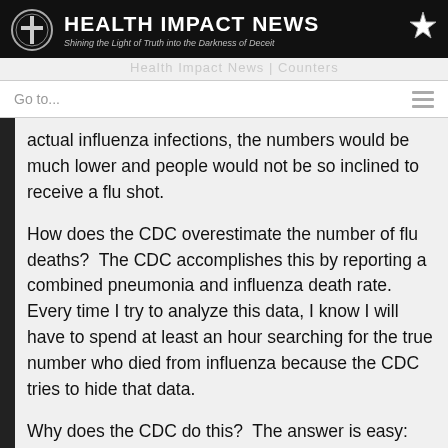HEALTH IMPACT NEWS — Shining the Light of Truth into the Darkness of Deceit
Go to...
actual influenza infections, the numbers would be much lower and people would not be so inclined to receive a flu shot.
How does the CDC overestimate the number of flu deaths?  The CDC accomplishes this by reporting a combined pneumonia and influenza death rate.  Every time I try to analyze this data, I know I will have to spend at least an hour searching for the true number who died from influenza because the CDC tries to hide that data.
Why does the CDC do this?  The answer is easy:  The more people that receive the flu vaccine, the more money the CDC makes.